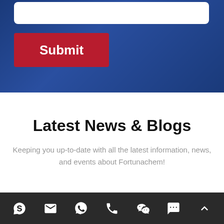[Figure (screenshot): Blue hero section with white rounded input bar at top and red Submit button below, on dark blue background]
Latest News & Blogs
Keeping you up-to-date with all the latest information, news, and events about Fortunachem!
[Figure (screenshot): Dark footer bar with seven social/contact icons: Skype, email, WhatsApp, phone, WeChat, chat bubble, and scroll-to-top arrow]